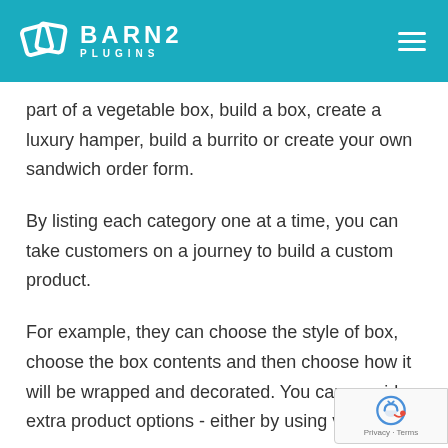BARN2 PLUGINS
part of a vegetable box, build a box, create a luxury hamper, build a burrito or create your own sandwich order form.
By listing each category one at a time, you can take customers on a journey to build a custom product.
For example, they can choose the style of box, choose the box contents and then choose how it will be wrapped and decorated. You can provide extra product options - either by using variable